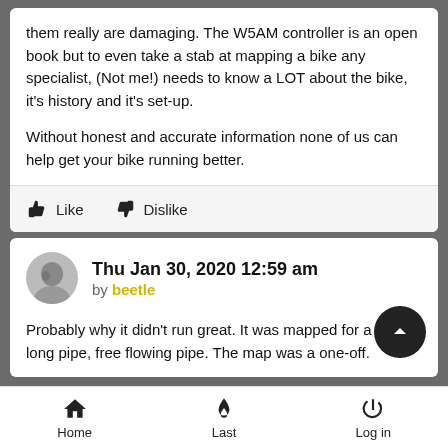them really are damaging. The W5AM controller is an open book but to even take a stab at mapping a bike any specialist, (Not me!) needs to know a LOT about the bike, it's history and it's set-up.

Without honest and accurate information none of us can help get your bike running better.
Thu Jan 30, 2020 12:59 am
by beetle
Probably why it didn't run great. It was mapped for a very long pipe, free flowing pipe. The map was a one-off.
Home  Last  Log in